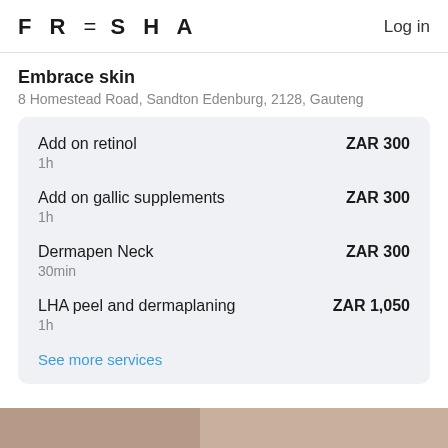FRESHA   Log in
Embrace skin
8 Homestead Road, Sandton Edenburg, 2128, Gauteng
Add on retinol   ZAR 300   1h
Add on gallic supplements   ZAR 300   1h
Dermapen Neck   ZAR 300   30min
LHA peel and dermaplaning   ZAR 1,050   1h
See more services
[Figure (photo): Partial photo visible at bottom of page]